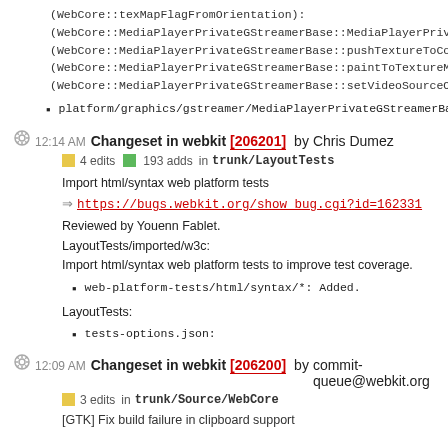(WebCore::texMapFlagFromOrientation):
(WebCore::MediaPlayerPrivateGStreamerBase::MediaPlayerPrivateGStreamer
(WebCore::MediaPlayerPrivateGStreamerBase::pushTextureToCompositor):
(WebCore::MediaPlayerPrivateGStreamerBase::paintToTextureMapper):
(WebCore::MediaPlayerPrivateGStreamerBase::setVideoSourceOrientation):
platform/graphics/gstreamer/MediaPlayerPrivateGStreamerBase.h:
12:14 AM Changeset in webkit [206201] by Chris Dumez
4 edits  193 adds  in trunk/LayoutTests
Import html/syntax web platform tests
https://bugs.webkit.org/show_bug.cgi?id=162331
Reviewed by Youenn Fablet.
LayoutTests/imported/w3c:
Import html/syntax web platform tests to improve test coverage.
web-platform-tests/html/syntax/*: Added.
LayoutTests:
tests-options.json:
12:09 AM Changeset in webkit [206200] by commit-queue@webkit.org
3 edits  in trunk/Source/WebCore
[GTK] Fix build failure in clipboard support